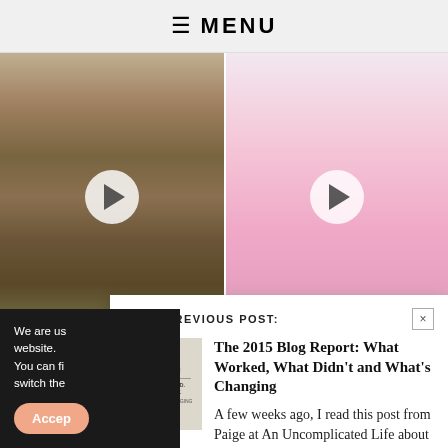≡ MENU
[Figure (photo): Two side-by-side video thumbnails: left shows a couple kissing outdoors with a play button overlay; right shows two women in pink overalls with a play button overlay]
READ PREVIOUS POST:
[Figure (photo): Thumbnail image of The 2015 Blog Report book cover]
The 2015 Blog Report: What Worked, What Didn't and What's Changing
A few weeks ago, I read this post from Paige at An Uncomplicated Life about the importance of doing a...
We are us website. You can fi switch the
Accep